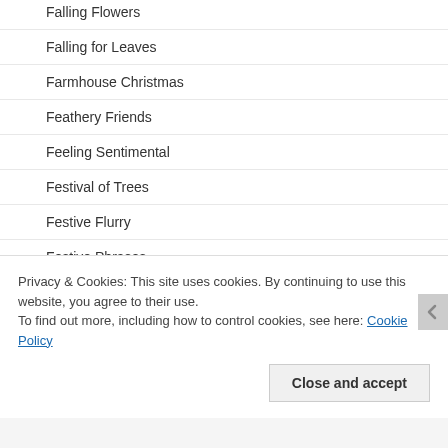Falling Flowers
Falling for Leaves
Farmhouse Christmas
Feathery Friends
Feeling Sentimental
Festival of Trees
Festive Flurry
Festive Phrases
Field Flowers
Flight of Fancy
Privacy & Cookies: This site uses cookies. By continuing to use this website, you agree to their use.
To find out more, including how to control cookies, see here: Cookie Policy
Close and accept